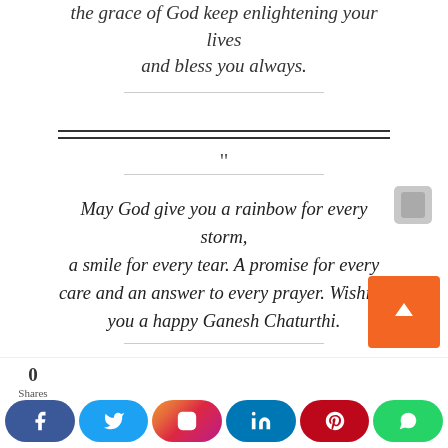the grace of God keep enlightening your lives and bless you always.
" May God give you a rainbow for every storm, a smile for every tear. A promise for every care and an answer to every prayer. Wishing you a happy Ganesh Chaturthi.
" May Lord Ganesha steal all your worries a...